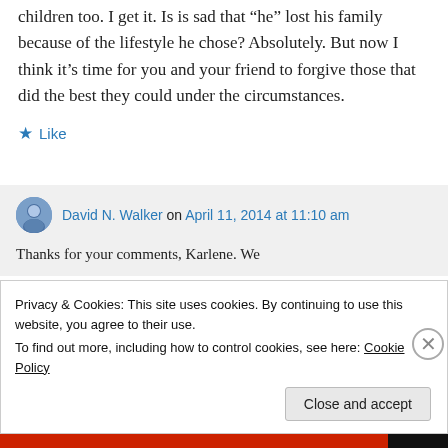children too. I get it. Is is sad that “he” lost his family because of the lifestyle he chose? Absolutely. But now I think it’s time for you and your friend to forgive those that did the best they could under the circumstances.
★ Like
David N. Walker on April 11, 2014 at 11:10 am
Thanks for your comments, Karlene. We
Privacy & Cookies: This site uses cookies. By continuing to use this website, you agree to their use.
To find out more, including how to control cookies, see here: Cookie Policy
Close and accept